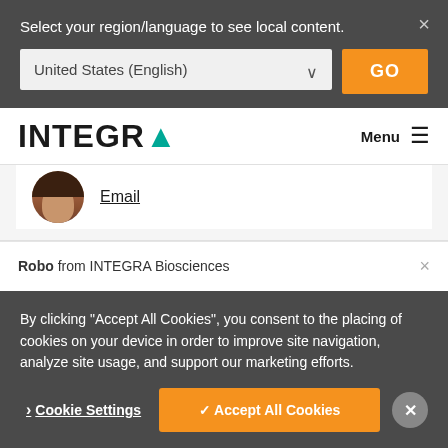Select your region/language to see local content.
United States (English)
GO
INTEGRA
Menu
Email
Robo from INTEGRA Biosciences
By clicking "Accept All Cookies", you consent to the placing of cookies on your device in order to improve site navigation, analyze site usage, and support our marketing efforts.
Cookie Settings
✓ Accept All Cookies